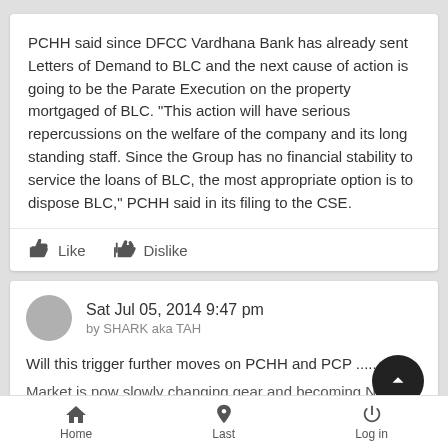PCHH said since DFCC Vardhana Bank has already sent Letters of Demand to BLC and the next cause of action is going to be the Parate Execution on the property mortgaged of BLC. "This action will have serious repercussions on the welfare of the company and its long standing staff. Since the Group has no financial stability to service the loans of BLC, the most appropriate option is to dispose BLC," PCHH said in its filing to the CSE.
Like  Dislike
Sat Jul 05, 2014 9:47 pm
by SHARK aka TAH
Will this trigger further moves on PCHH and PCP .....
Market is now slowly changing gear and becoming News
Home  Last  Log in